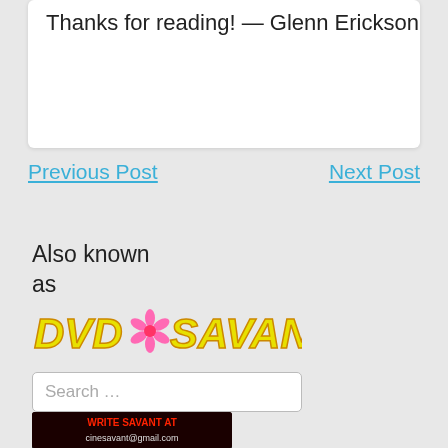Thanks for reading! — Glenn Erickson
Previous Post
Next Post
Also known as
[Figure (logo): DVD Savant logo in yellow and red stylized text with a pink atomic symbol]
Search …
CONTACT CINESAVANT
[Figure (screenshot): Dark banner image with text: WRITE SAVANT AT cinesavant@gmail.com]